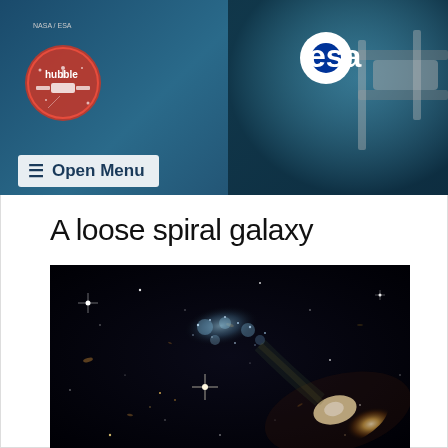Hubble / ESA — Open Menu
A loose spiral galaxy
[Figure (photo): Hubble Space Telescope image of a loose spiral galaxy against a black star field. The galaxy shows a bright elliptical core in the lower right and loose blue spiral arm structure in the upper center, with numerous foreground stars visible.]